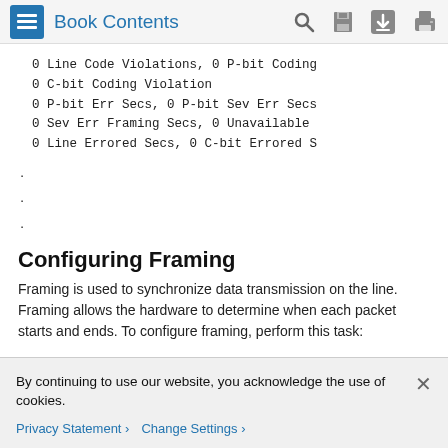Book Contents
0 Line Code Violations, 0 P-bit Coding
0 C-bit Coding Violation
0 P-bit Err Secs, 0 P-bit Sev Err Secs
0 Sev Err Framing Secs, 0 Unavailable
0 Line Errored Secs, 0 C-bit Errored S
.
.
.
Configuring Framing
Framing is used to synchronize data transmission on the line. Framing allows the hardware to determine when each packet starts and ends. To configure framing, perform this task:
By continuing to use our website, you acknowledge the use of cookies.
Privacy Statement > Change Settings >